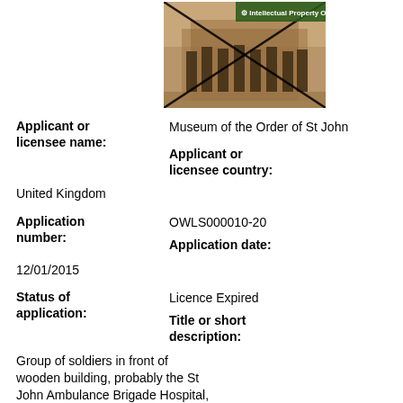[Figure (photo): Sepia photograph of a group of soldiers in front of a wooden building, with an X mark overlaid and Intellectual Property Office logo in top-right corner]
Applicant or licensee name:
Museum of the Order of St John
Applicant or licensee country:
United Kingdom
Application number:
OWLS000010-20
Application date:
12/01/2015
Status of application:
Licence Expired
Title or short description:
Group of soldiers in front of wooden building, probably the St John Ambulance Brigade Hospital, Etaples. First World War
Full description:
Black and white First World War